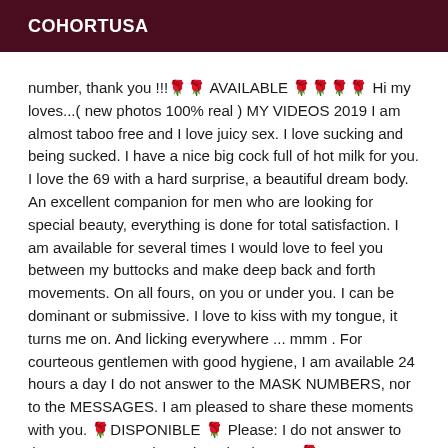COHORTUSA
number, thank you !!!🌹🌹 AVAILABLE 🌹🌹🌹🌹 Hi my loves...( new photos 100% real ) MY VIDEOS 2019 I am almost taboo free and I love juicy sex. I love sucking and being sucked. I have a nice big cock full of hot milk for you. I love the 69 with a hard surprise, a beautiful dream body. An excellent companion for men who are looking for special beauty, everything is done for total satisfaction. I am available for several times I would love to feel you between my buttocks and make deep back and forth movements. On all fours, on you or under you. I can be dominant or submissive. I love to kiss with my tongue, it turns me on. And licking everywhere ... mmm . For courteous gentlemen with good hygiene, I am available 24 hours a day I do not answer to the MASK NUMBERS, nor to the MESSAGES. I am pleased to share these moments with you. 🌹DISPONIBLE 🌹 Please: I do not answer to the S M S nor mask number, thank you!!!🌹DISPONIBLE 🌹🌹🌹DISPONIBLE! Hi all. Do you